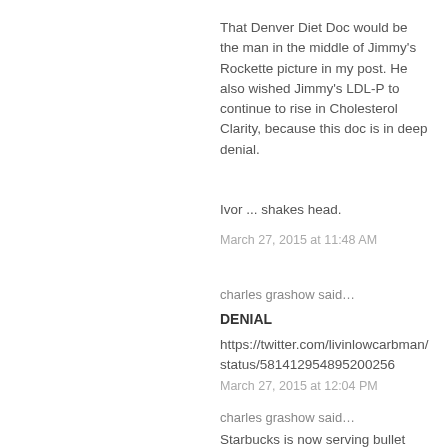That Denver Diet Doc would be the man in the middle of Jimmy's Rockette picture in my post. He also wished Jimmy's LDL-P to continue to rise in Cholesterol Clarity, because this doc is in deep denial.
Ivor ... shakes head.
March 27, 2015 at 11:48 AM
charles grashow said…
DENIAL
https://twitter.com/livinlowcarbman/status/581412954895200256
March 27, 2015 at 12:04 PM
charles grashow said…
Starbucks is now serving bullet proof coffee!!